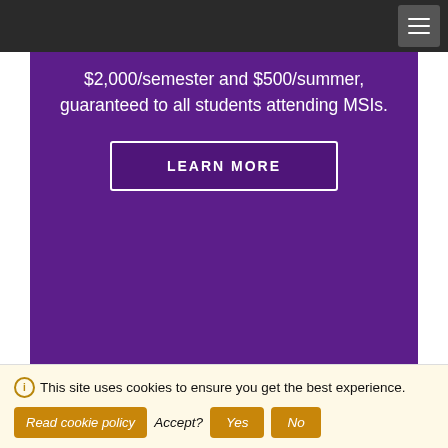[Figure (screenshot): Purple banner with text '$2,000/semester and $500/summer, guaranteed to all students attending MSIs.' and a LEARN MORE button]
Why CIEE
200+ study abroad programs in 40+ countries
$8 million in scholarships offered each year
ⓘ This site uses cookies to ensure you get the best experience. [Read cookie policy] Accept? [Yes] [No]